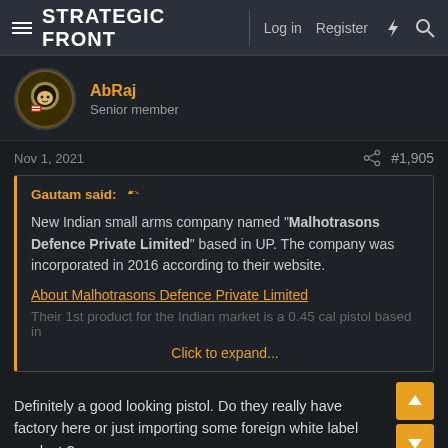STRATEGIC FRONT — Log in  Register
AbRaj
Senior member
Nov 1, 2021  #1,905
Gautam said:
New Indian small arms company named "Malhotrasons Defence Private Limited" based in UP. The company was incorporated in 2016 according to their website.
About Malhotrasons Defence Private Limited
Their 1st product for the Indian market is a 0.45 cal pistol based in
Click to expand...
Definitely a good looking pistol. Do they really have factory here or just importing some foreign white label product ?